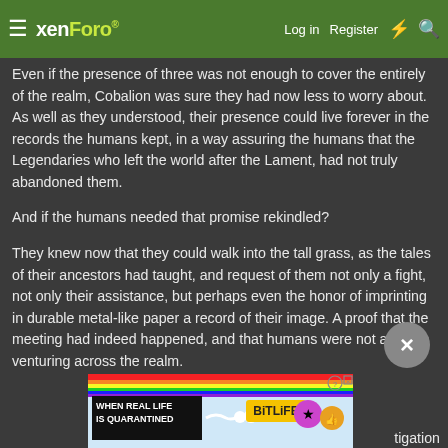xenForo — Log in  Register
Even if the presence of three was not enough to cover the entirely of the realm, Cobalion was sure they had now less to worry about. As well as they understood, their presence could live forever in the records the humans kept, in a way assuring the humans that the Legendaries who left the world after the Lament, had not truly abandoned them.
And if the humans needed that promise rekindled?
They knew now that they could walk into the tall grass, as the tales of their ancestors had taught, and request of them not only a fight, not only their assistance, but perhaps even the honor of imprinting in durable metal-like paper a record of their image. A proof that the meeting had indeed happened, and that humans were not alone in venturing across the realm.
[Figure (screenshot): BitLife advertisement banner with rainbow colors, showing 'WHEN REAL LIFE IS QUARANTINED' text and BitLife logo with cartoon character icons]